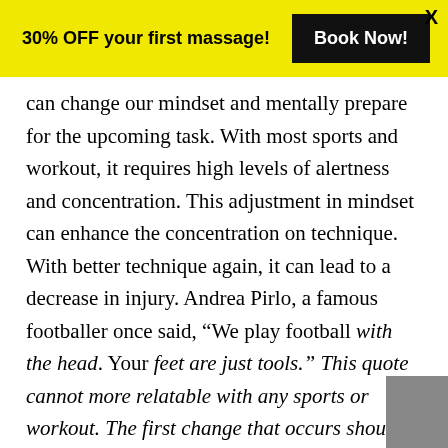30% OFF your first massage! Book Now! X
can change our mindset and mentally prepare for the upcoming task. With most sports and workout, it requires high levels of alertness and concentration. This adjustment in mindset can enhance the concentration on technique. With better technique again, it can lead to a decrease in injury. Andrea Pirlo, a famous footballer once said, “We play football with the head. Your feet are just tools.” This quote cannot more relatable with any sports or workout. The first change that occurs should be in your mind before you start performing. This is where an excellent warm-up comes into play.
Warming up is often overlooked by many amateurs or people who have just started to exercise. It can be argued